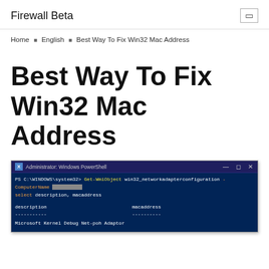Firewall Beta
Home › English › Best Way To Fix Win32 Mac Address
Best Way To Fix Win32 Mac Address
[Figure (screenshot): Windows PowerShell window showing command: Get-WmiObject win32_networkadapterconfiguration -ComputerName [redacted] | select description, macaddress — with output columns 'description' and 'macaddress' and dotted separators, and a partial line at the bottom.]